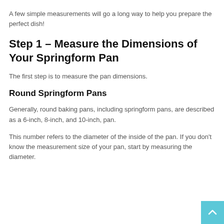A few simple measurements will go a long way to help you prepare the perfect dish!
Step 1 – Measure the Dimensions of Your Springform Pan
The first step is to measure the pan dimensions.
Round Springform Pans
Generally, round baking pans, including springform pans, are described as a 6-inch, 8-inch, and 10-inch, pan.
This number refers to the diameter of the inside of the pan. If you don't know the measurement size of your pan, start by measuring the diameter.